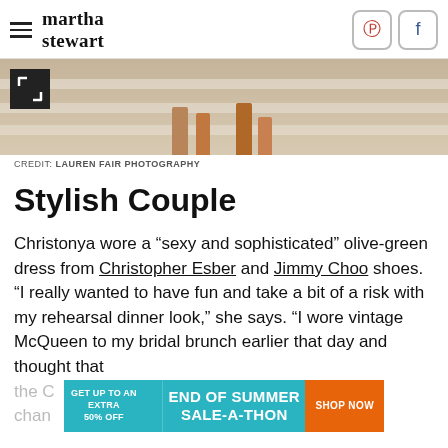martha stewart
[Figure (photo): Cropped photo showing feet/shoes of people standing on a paved surface, partial view from knees down]
CREDIT: LAUREN FAIR PHOTOGRAPHY
Stylish Couple
Christonya wore a "sexy and sophisticated" olive-green dress from Christopher Esber and Jimmy Choo shoes. "I really wanted to have fun and take a bit of a risk with my rehearsal dinner look," she says. "I wore vintage McQueen to my bridal brunch earlier that day and thought that the C... charm... own.
[Figure (screenshot): Advertisement banner: GET UP TO AN EXTRA 50% OFF | END OF SUMMER SALE-A-THON | SHOP NOW]